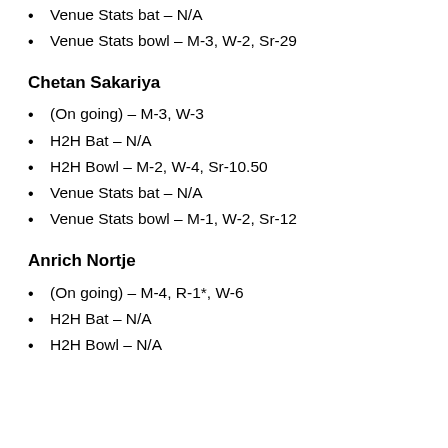Venue Stats bat – N/A
Venue Stats bowl – M-3, W-2, Sr-29
Chetan Sakariya
(On going) – M-3, W-3
H2H Bat – N/A
H2H Bowl – M-2, W-4, Sr-10.50
Venue Stats bat – N/A
Venue Stats bowl – M-1, W-2, Sr-12
Anrich Nortje
(On going) – M-4, R-1*, W-6
H2H Bat – N/A
H2H Bowl – N/A